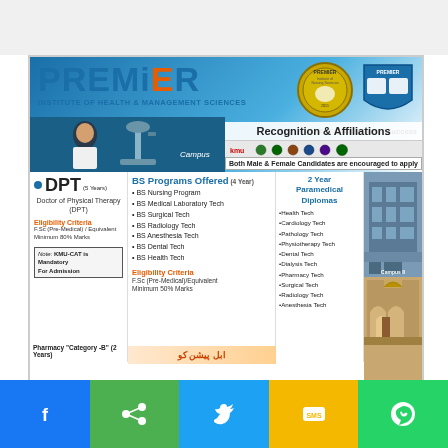PREMiER
INSTITUTE OF HEALTH & MANAGEMENT SCIENCES
Recognition & Affiliations
Both Male & Female Candidates are encouraged to apply
BS Programs Offered (4 Years)
BS Nursing Program
BS Medical Laboratory Tech
BS Surgical Tech
BS Radiology Tech
BS Anesthesia Tech
BS Dental Tech
BS Health Tech
Eligibility Criteria
F.Sc (Pre-Medical)/Equivalent Minimum 50% Marks
2 Year Paramedical Diplomas
Health Tech
Cardiology Tech
Pathology Tech
Physiotherapy Tech
Dental Tech
Dialysis Tech
Pharmacy Tech
Surgical Tech
Radiology Tech
Anesthesia Tech
DPT (5 Years)
Doctor of Physical Therapy (DPT)
Eligibility Criteria
F.Sc (Pre-Medical) / Equivalent Minimum 80% Marks
Note: KMU-CAT is Mandatory For Admission
Pharmacy "Category -B" (2 Years)
[Figure (photo): Campus building photos on right side]
[Figure (logo): Premier Institute circular logos and shield logo]